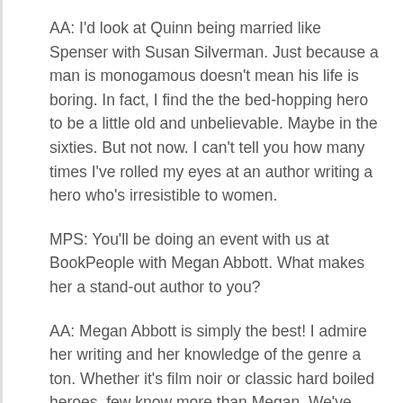AA: I'd look at Quinn being married like Spenser with Susan Silverman. Just because a man is monogamous doesn't mean his life is boring. In fact, I find the the bed-hopping hero to be a little old and unbelievable. Maybe in the sixties. But not now. I can't tell you how many times I've rolled my eyes at an author writing a hero who's irresistible to women.
MPS: You'll be doing an event with us at BookPeople with Megan Abbott. What makes her a stand-out author to you?
AA: Megan Abbott is simply the best! I admire her writing and her knowledge of the genre a ton. Whether it's film noir or classic hard boiled heroes, few know more than Megan. We've been close friends for a long while and can't wait to sit down